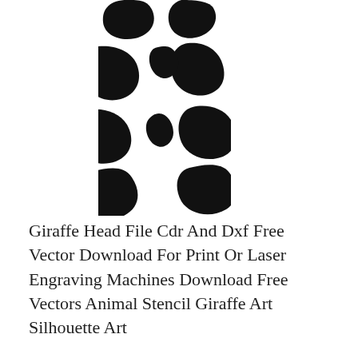[Figure (illustration): Black and white giraffe pattern illustration — a tall rectangular column of irregular black giraffe-spot patches on a white background, resembling a giraffe neck/body silhouette pattern used for laser engraving or stencil art.]
Giraffe Head File Cdr And Dxf Free Vector Download For Print Or Laser Engraving Machines Download Free Vectors Animal Stencil Giraffe Art Silhouette Art